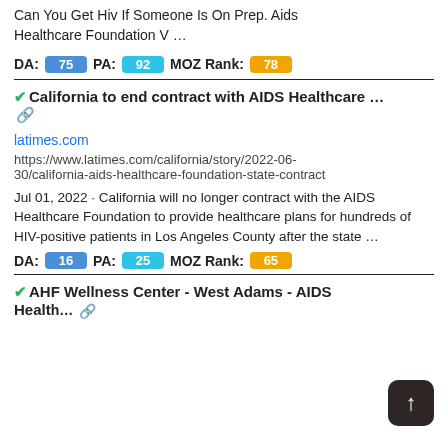Can You Get Hiv If Someone Is On Prep. Aids Healthcare Foundation V …
DA: 75  PA: 92  MOZ Rank: 78
California to end contract with AIDS Healthcare …
latimes.com
https://www.latimes.com/california/story/2022-06-30/california-aids-healthcare-foundation-state-contract
Jul 01, 2022 · California will no longer contract with the AIDS Healthcare Foundation to provide healthcare plans for hundreds of HIV-positive patients in Los Angeles County after the state …
DA: 16  PA: 25  MOZ Rank: 65
AHF Wellness Center - West Adams - AIDS Health…